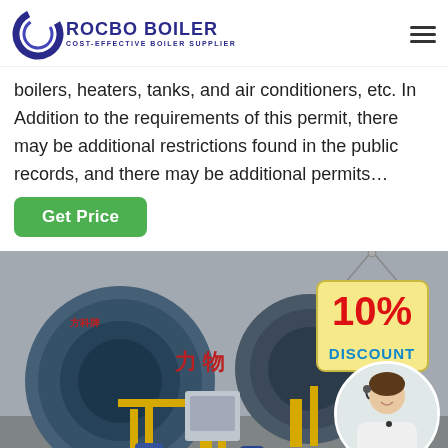ROCBO BOILER - COST-EFFECTIVE BOILER SUPPLIER
boilers, heaters, tanks, and air conditioners, etc. In Addition to the requirements of this permit, there may be additional restrictions found in the public records, and there may be additional permits...
Get Price
[Figure (photo): Industrial boiler room with large blue cylindrical boilers, yellow pipes, red pipes, and equipment. Overlaid with a 10% DISCOUNT badge sign and a customer service representative in a circular frame.]